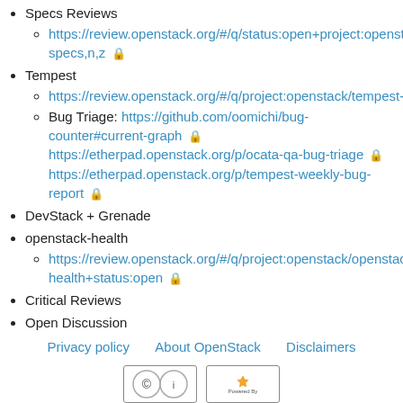Specs Reviews
https://review.openstack.org/#/q/status:open+project:openstack/specs,n,z 🔒
Tempest
https://review.openstack.org/#/q/project:openstack/tempest+st…
Bug Triage: https://github.com/oomichi/bug-counter#current-graph 🔒 https://etherpad.openstack.org/p/ocata-qa-bug-triage 🔒 https://etherpad.openstack.org/p/tempest-weekly-bug-report 🔒
DevStack + Grenade
openstack-health
https://review.openstack.org/#/q/project:openstack/openstack-health+status:open 🔒
Critical Reviews
Open Discussion
Privacy policy   About OpenStack   Disclaimers